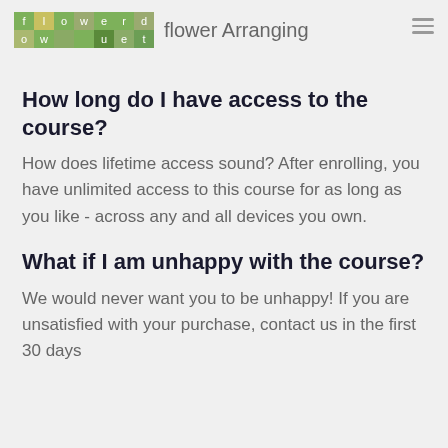flowerduet — Flower Arranging
How long do I have access to the course?
How does lifetime access sound? After enrolling, you have unlimited access to this course for as long as you like - across any and all devices you own.
What if I am unhappy with the course?
We would never want you to be unhappy! If you are unsatisfied with your purchase, contact us in the first 30 days